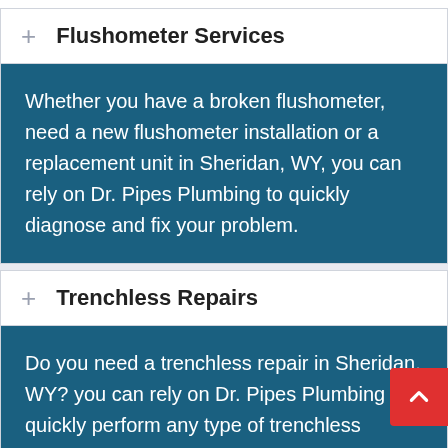Flushometer Services
Whether you have a broken flushometer, need a new flushometer installation or a replacement unit in Sheridan, WY, you can rely on Dr. Pipes Plumbing to quickly diagnose and fix your problem.
Trenchless Repairs
Do you need a trenchless repair in Sheridan, WY? you can rely on Dr. Pipes Plumbing to quickly perform any type of trenchless repairs and get your pipes and lines fixed without making your yard look a construction site.